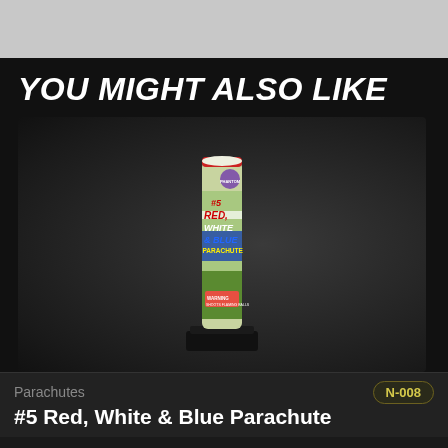YOU MIGHT ALSO LIKE
[Figure (photo): Product photo of #5 Red, White & Blue Parachute firework tube by Phantom Brand, displayed upright on a black base against a dark background.]
Parachutes
N-008
#5 Red, White & Blue Parachute